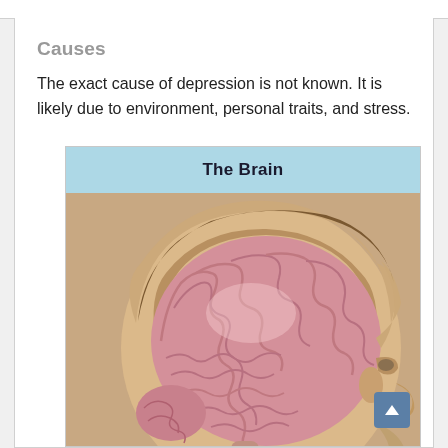Causes
The exact cause of depression is not known. It is likely due to environment, personal traits, and stress.
[Figure (illustration): Medical illustration of a human head in profile (side view) with the skull opened to show the brain anatomy. The brain is depicted in detailed pink/rose tones showing gyri and sulci, with the surrounding skull and facial features visible. Titled 'The Brain' in a light blue header bar.]